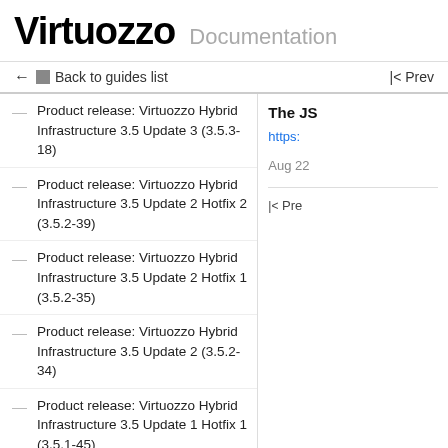Virtuozzo Documentation
← Back to guides list    |< Prev
Product release: Virtuozzo Hybrid Infrastructure 3.5 Update 3 (3.5.3-18)
Product release: Virtuozzo Hybrid Infrastructure 3.5 Update 2 Hotfix 2 (3.5.2-39)
Product release: Virtuozzo Hybrid Infrastructure 3.5 Update 2 Hotfix 1 (3.5.2-35)
Product release: Virtuozzo Hybrid Infrastructure 3.5 Update 2 (3.5.2-34)
Product release: Virtuozzo Hybrid Infrastructure 3.5 Update 1 Hotfix 1 (3.5.1-45)
Product release: Virtuozzo Hybrid Infrastructure 3.5 Update 1 (3.5.1-43)
Product update: Virtuozzo Infrastructure Platform 3.0 Update 5 Hotfix 2 (3.0.5-69)
The JS https:
Aug 22
|< Pre